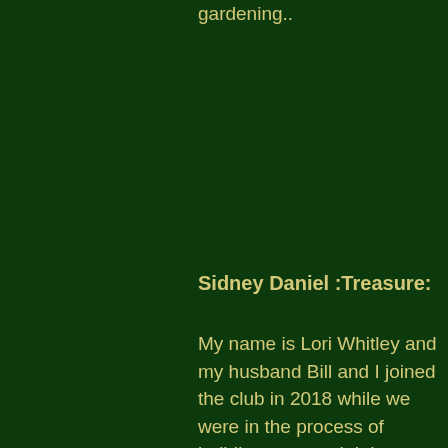gardening..
Sidney Daniel :Treasure:
My name is Lori Whitley and my husband Bill and I joined the club in 2018 while we were in the process of building our pond. It is 16,000 gallons. We are still working on finishing